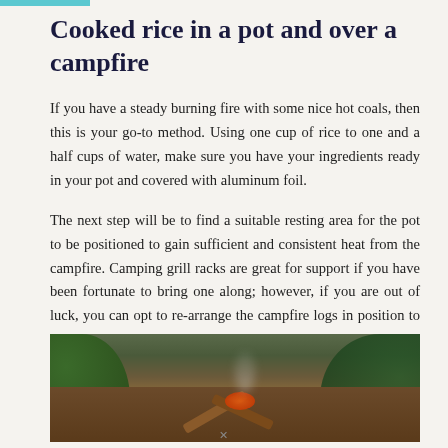Cooked rice in a pot and over a campfire
If you have a steady burning fire with some nice hot coals, then this is your go-to method. Using one cup of rice to one and a half cups of water, make sure you have your ingredients ready in your pot and covered with aluminum foil.
The next step will be to find a suitable resting area for the pot to be positioned to gain sufficient and consistent heat from the campfire. Camping grill racks are great for support if you have been fortunate to bring one along; however, if you are out of luck, you can opt to re-arrange the campfire logs in position to hold up the rice pot.
[Figure (photo): Photo of a small campfire with logs and glowing embers on a dirt ground, surrounded by green foliage.]